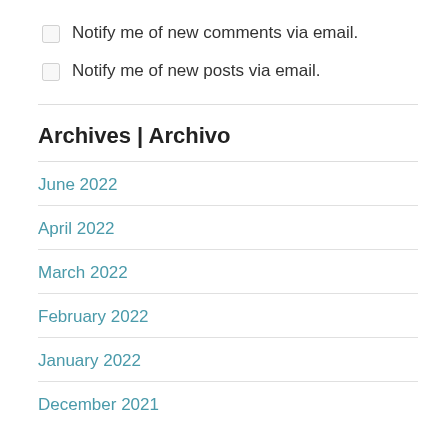Notify me of new comments via email.
Notify me of new posts via email.
Archives | Archivo
June 2022
April 2022
March 2022
February 2022
January 2022
December 2021